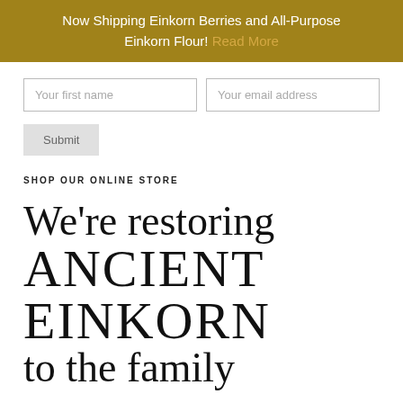Now Shipping Einkorn Berries and All-Purpose Einkorn Flour! Read More
[Figure (screenshot): Email signup form with two input fields: 'Your first name' and 'Your email address', and a Submit button below]
SHOP OUR ONLINE STORE
We're restoring ANCIENT EINKORN to the family